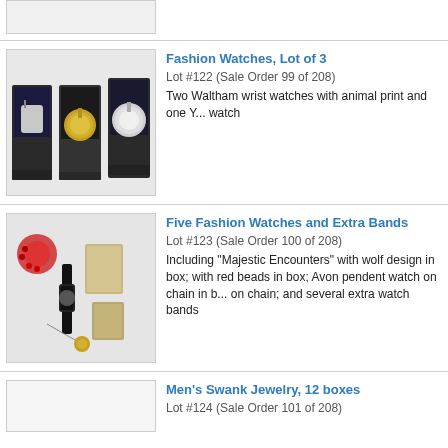[Figure (photo): Partial top image of an auction lot (cropped at top of page)]
Fashion Watches, Lot of 3
Lot #122 (Sale Order 99 of 208)
Two Waltham wrist watches with animal print and one Y... watch
[Figure (photo): Three fashion watches displayed in open black boxes]
Five Fashion Watches and Extra Bands
Lot #123 (Sale Order 100 of 208)
Including "Majestic Encounters" with wolf design in box; with red beads in box; Avon pendent watch on chain in b... on chain; and several extra watch bands
[Figure (photo): Five fashion watches and extra bands displayed with boxes]
Men's Swank Jewelry, 12 boxes
Lot #124 (Sale Order 101 of 208)
[Figure (photo): Partial image of Men's Swank Jewelry lot (cropped at bottom of page)]